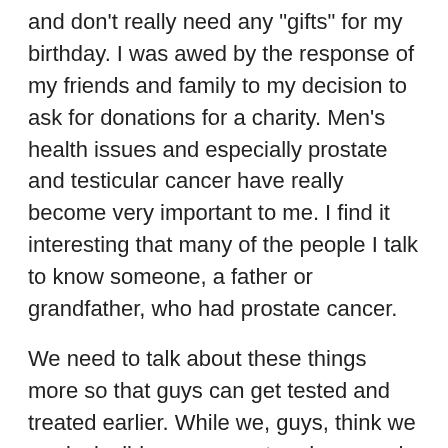and don't really need any "gifts" for my birthday. I was awed by the response of my friends and family to my decision to ask for donations for a charity. Men's health issues and especially prostate and testicular cancer have really become very important to me. I find it interesting that many of the people I talk to know someone, a father or grandfather, who had prostate cancer.
We need to talk about these things more so that guys can get tested and treated earlier. While we, guys, think we are invincible, we are not and we need to do some basic things to ensure that we can continue to live healthy and fruitful lives.
So for my Happy Birthday, I want to celebrate by helping find a cure for prostate cancer and helping those who need assistance as they work through treatment.